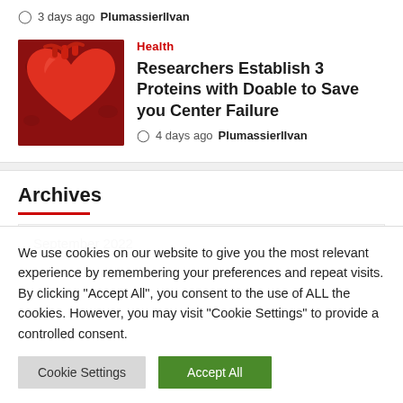3 days ago  PlumassierlIvan
Health
Researchers Establish 3 Proteins with Doable to Save you Center Failure
4 days ago  PlumassierlIvan
[Figure (photo): Red anatomical heart illustration on dark red background]
Archives
September 2022
We use cookies on our website to give you the most relevant experience by remembering your preferences and repeat visits. By clicking "Accept All", you consent to the use of ALL the cookies. However, you may visit "Cookie Settings" to provide a controlled consent.